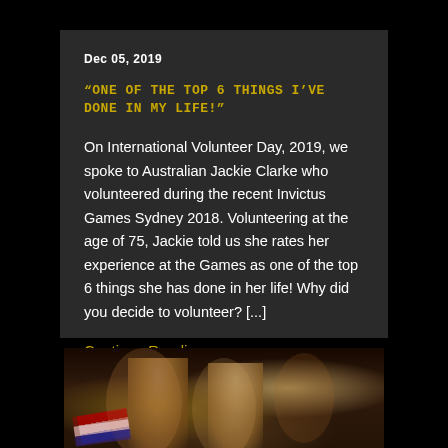Dec 05, 2019
“ONE OF THE TOP 6 THINGS I’VE DONE IN MY LIFE!”
On International Volunteer Day, 2019, we spoke to Australian Jackie Clarke who volunteered during the recent Invictus Games Sydney 2018. Volunteering at the age of 75, Jackie told us she rates her experience at the Games as one of the top 6 things she has done in her life! Why did you decide to volunteer? [...]
Continue Reading
[Figure (photo): Photo of people at the Invictus Games, partially visible at bottom of page]